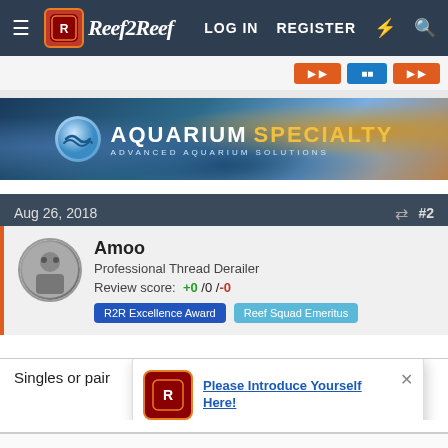Reef2Reef | LOG IN  REGISTER
[Figure (screenshot): Orange and blue navigation buttons strip]
[Figure (screenshot): Aquarium Specialty banner ad with logo and coral background]
Aug 26, 2018  #2
Amoo
Professional Thread Derailer
Review score: +0 /0 /-0
R2R Excellence Award  Reef Squad Emeritus
Singles or pair
[Figure (screenshot): Reef2Reef popup notification: Please Introduce Yourself Here!]